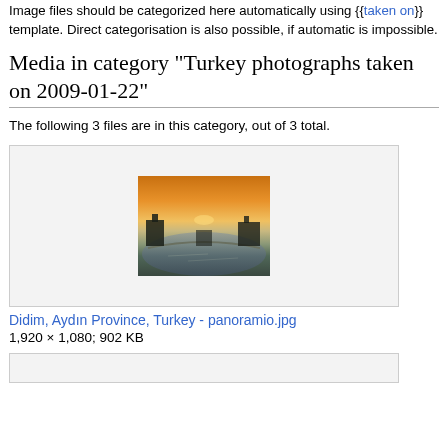Image files should be categorized here automatically using {{taken on}} template. Direct categorisation is also possible, if automatic is impossible.
Media in category "Turkey photographs taken on 2009-01-22"
The following 3 files are in this category, out of 3 total.
[Figure (photo): Thumbnail of Didim, Aydın Province, Turkey panoramic photo showing a sunset over water with silhouettes]
Didim, Aydın Province, Turkey - panoramio.jpg
1,920 × 1,080; 902 KB